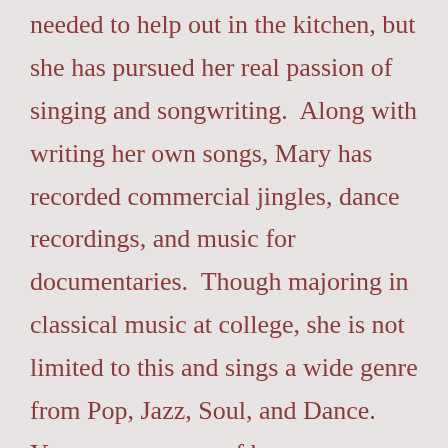needed to help out in the kitchen, but she has pursued her real passion of singing and songwriting.  Along with writing her own songs, Mary has recorded commercial jingles, dance recordings, and music for documentaries.  Though majoring in classical music at college, she is not limited to this and sings a wide genre from Pop, Jazz, Soul, and Dance.  You can see some of her performances at the Goldenview Open Bar on Via de' Bardi.  Summertime she is extremely busy performing with her band for mostly destination weddings,